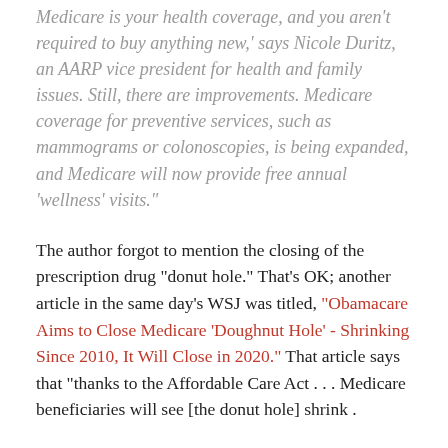Medicare is your health coverage, and you aren't required to buy anything new,' says Nicole Duritz, an AARP vice president for health and family issues. Still, there are improvements. Medicare coverage for preventive services, such as mammograms or colonoscopies, is being expanded, and Medicare will now provide free annual 'wellness' visits."
The author forgot to mention the closing of the prescription drug "donut hole." That's OK; another article in the same day's WSJ was titled, "Obamacare Aims to Close Medicare 'Doughnut Hole' - Shrinking Since 2010, It Will Close in 2020." That article says that "thanks to the Affordable Care Act . . . Medicare beneficiaries will see [the donut hole] shrink .